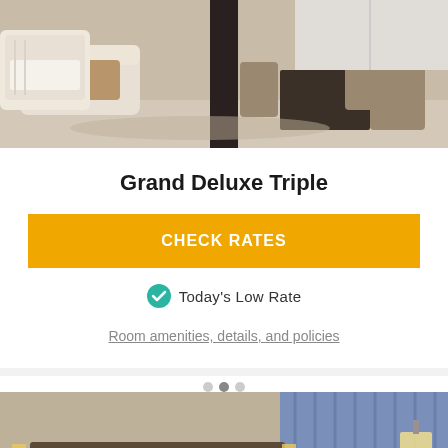[Figure (photo): Hotel lounge/lobby room with brown sofas, a tall dark pillar, and chairs around a table near large windows]
Grand Deluxe Triple
CHECK RATES
Today's Low Rate
Room amenities, details, and policies
[Figure (photo): Hotel bedroom with a large bed, warm lighting, bedside lamps, a sitting area with chairs and table, and blue curtains]